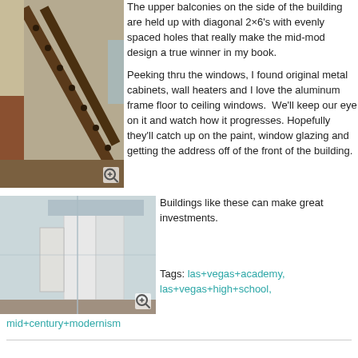[Figure (photo): Exterior of a building showing diagonal metal 2x6 support beams with evenly spaced holes holding up upper balconies, mid-century modern architectural style]
The upper balconies on the side of the building are held up with diagonal 2×6's with evenly spaced holes that really make the mid-mod design a true winner in my book.
Peeking thru the windows, I found original metal cabinets, wall heaters and I love the aluminum frame floor to ceiling windows.  We'll keep our eye on it and watch how it progresses. Hopefully they'll catch up on the paint, window glazing and getting the address off of the front of the building.
[Figure (photo): Interior view through windows showing white metal cabinets and wall heaters in a mid-century modern building]
Buildings like these can make great investments.
Tags: las+vegas+academy, las+vegas+high+school, mid+century+modernism